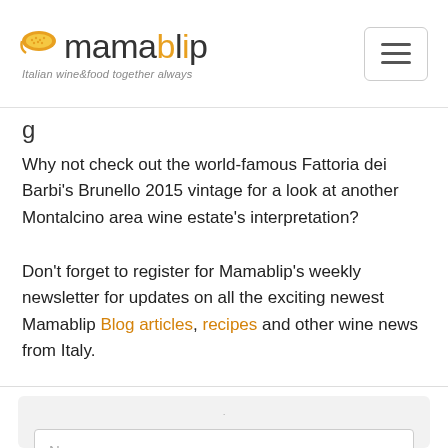mamablip — Italian wine&food together always
Why not check out the world-famous Fattoria dei Barbi's Brunello 2015 vintage for a look at another Montalcino area wine estate's interpretation?
Don't forget to register for Mamablip's weekly newsletter for updates on all the exciting newest Mamablip Blog articles, recipes and other wine news from Italy.
[Figure (other): Newsletter signup form with Name field and a second input field]